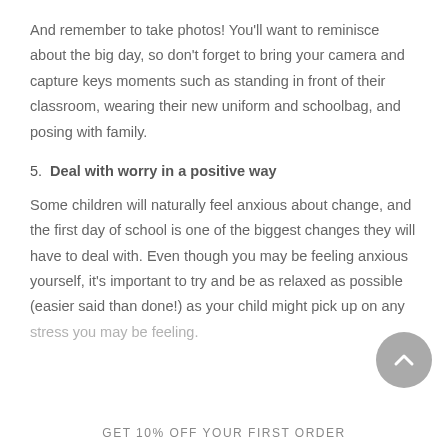And remember to take photos! You'll want to reminisce about the big day, so don't forget to bring your camera and capture keys moments such as standing in front of their classroom, wearing their new uniform and schoolbag, and posing with family.
5. Deal with worry in a positive way
Some children will naturally feel anxious about change, and the first day of school is one of the biggest changes they will have to deal with. Even though you may be feeling anxious yourself, it's important to try and be as relaxed as possible (easier said than done!) as your child might pick up on any stress you may be feeling.
GET 10% OFF YOUR FIRST ORDER